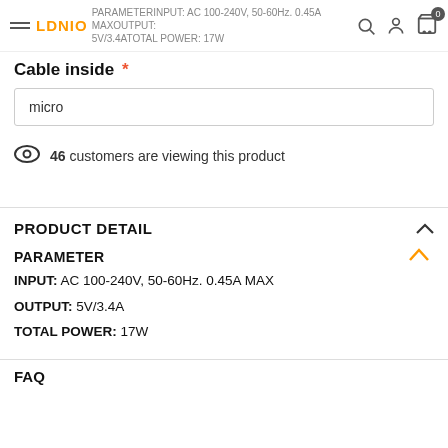PARAMETER INPUT: AC 100-240V, 50-60Hz. 0.45A MAX OUTPUT: 5V/3.4A TOTAL POWER: 17W
PARAMETER INPUT: AC 100-240V, 50-60Hz. 0.45A MAX OUTPUT: 5V/3.4A TOTAL POWER: 17W
Cable inside *
micro
46 customers are viewing this product
PRODUCT DETAIL
PARAMETER
INPUT: AC 100-240V, 50-60Hz. 0.45A MAX
OUTPUT: 5V/3.4A
TOTAL POWER: 17W
FAQ